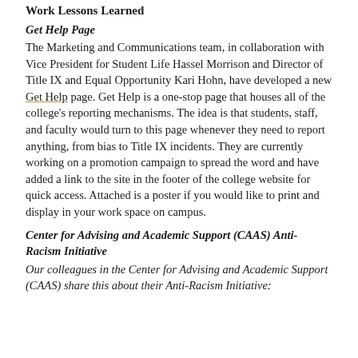Work Lessons Learned
Get Help Page
The Marketing and Communications team, in collaboration with Vice President for Student Life Hassel Morrison and Director of Title IX and Equal Opportunity Kari Hohn, have developed a new Get Help page. Get Help is a one-stop page that houses all of the college's reporting mechanisms. The idea is that students, staff, and faculty would turn to this page whenever they need to report anything, from bias to Title IX incidents. They are currently working on a promotion campaign to spread the word and have added a link to the site in the footer of the college website for quick access. Attached is a poster if you would like to print and display in your work space on campus.
Center for Advising and Academic Support (CAAS) Anti-Racism Initiative
Our colleagues in the Center for Advising and Academic Support (CAAS) share this about their Anti-Racism Initiative: